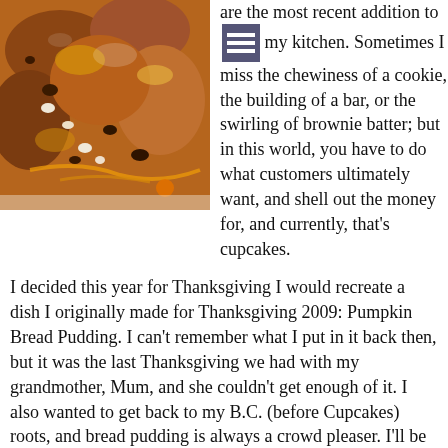[Figure (photo): Close-up photo of pumpkin bread pudding with caramel sauce drizzled over it, showing chunks of bread with glossy syrup and small white pieces, on a white plate.]
are the most recent addition to my kitchen. Sometimes I miss the chewiness of a cookie, the building of a bar, or the swirling of brownie batter; but in this world, you have to do what customers ultimately want, and shell out the money for, and currently, that's cupcakes.
I decided this year for Thanksgiving I would recreate a dish I originally made for Thanksgiving 2009: Pumpkin Bread Pudding. I can't remember what I put in it back then, but it was the last Thanksgiving we had with my grandmother, Mum, and she couldn't get enough of it. I also wanted to get back to my B.C. (before Cupcakes) roots, and bread pudding is always a crowd pleaser. I'll be honest I also